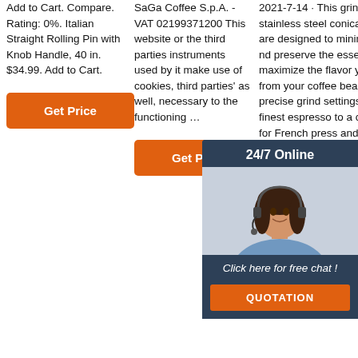Add to Cart. Compare. Rating: 0%. Italian Straight Rolling Pin with Knob Handle, 40 in. $34.99. Add to Cart.
Get Price
SaGa Coffee S.p.A. - VAT 02199371200 This website or the third parties instruments used by it make use of cookies, third parties' as well, necessary to the functioning …
Get Price
2021-7-14 · This grinder has stainless steel conical burrs that are designed to minimize heat and preserve the essential oils to maximize the flavor you extract from your coffee beans. With 40 precise grind settings from the finest espresso to a coarse grind for French press and everything in between. You'll always have exactly the right grind for your
[Figure (screenshot): 24/7 Online chat overlay with customer service agent photo, 'Click here for free chat!' text, and QUOTATION button]
[Figure (logo): TOP badge logo in orange and dark colors]